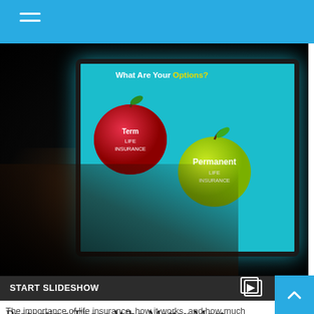[Figure (photo): A person's hand tapping on a tablet screen showing two apples labeled 'Term Life Insurance' (red apple) and 'Permanent Life Insurance' (green apple), with the text 'What Are Your Options?' displayed above on a cyan background. The overall scene is dark.]
START SLIDESHOW
Protecting Those Who Matter Most
The importance of life insurance, how it works, and how much